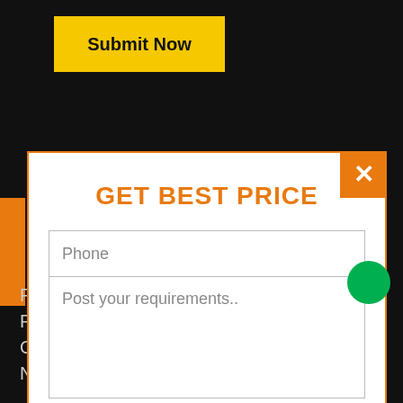[Figure (screenshot): A website screenshot showing a 'Submit Now' yellow button at the top, a modal dialog with orange border containing a 'GET BEST PRICE' form with Phone input, requirements textarea, and SEND MESSAGE button, and background text about furniture products at the bottom.]
Submit Now
GET BEST PRICE
Phone
Post your requirements..
SEND MESSAGE
Furniture, Poolside Furniture, Bar Furniture, Patio Sw... Office Chairs, Umbrella, Beach Chairs and Outdoor Sofa set in Subhash Nagar.